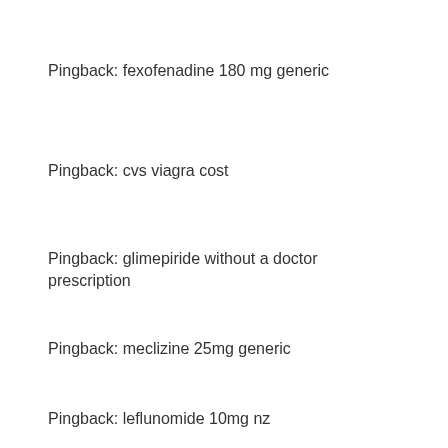Pingback: fexofenadine 180 mg generic
Pingback: cvs viagra cost
Pingback: glimepiride without a doctor prescription
Pingback: meclizine 25mg generic
Pingback: leflunomide 10mg nz